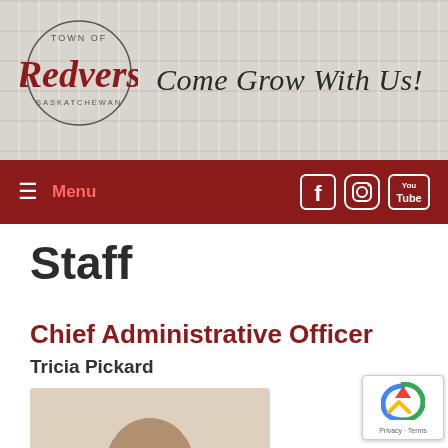[Figure (logo): Town of Redvers Saskatchewan circular logo with cursive 'Redvers' text in dark red]
Come Grow With Us!
≡ Menu
Staff
Chief Administrative Officer
Tricia Pickard
[Figure (photo): Partial photo of person at bottom of page]